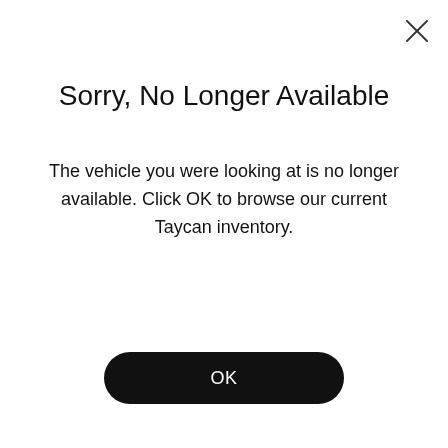Sorry, No Longer Available
The vehicle you were looking at is no longer available. Click OK to browse our current Taycan inventory.
OK